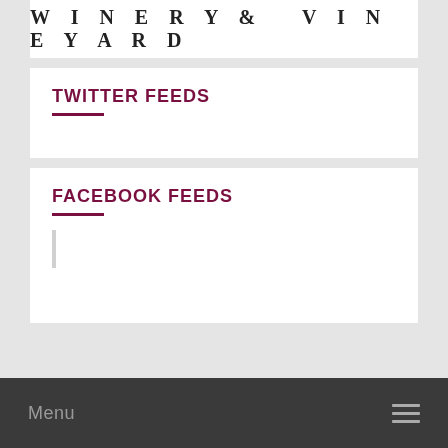[Figure (logo): Winery & Vineyard logo text in decorative serif uppercase letters with wide letter spacing]
TWITTER FEEDS
FACEBOOK FEEDS
Menu